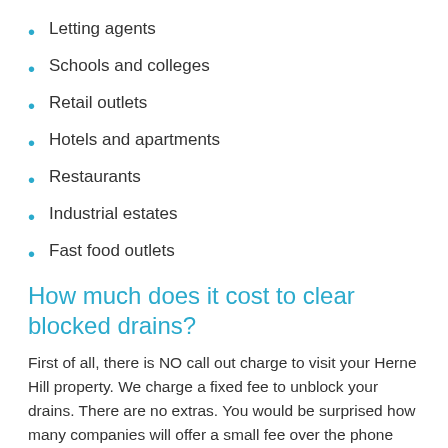Letting agents
Schools and colleges
Retail outlets
Hotels and apartments
Restaurants
Industrial estates
Fast food outlets
How much does it cost to clear blocked drains?
First of all, there is NO call out charge to visit your Herne Hill property. We charge a fixed fee to unblock your drains. There are no extras. You would be surprised how many companies will offer a small fee over the phone and when the work is done, other charges will appear.
If our drain engineer visits your home in Herne Hill and